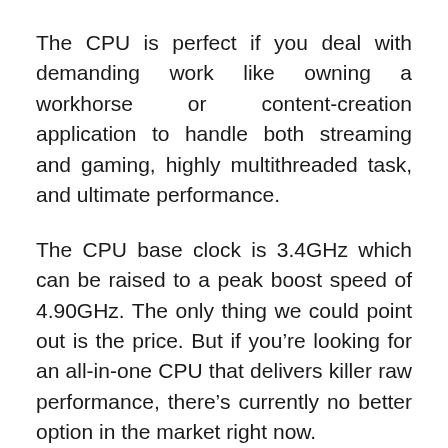The CPU is perfect if you deal with demanding work like owning a workhorse or content-creation application to handle both streaming and gaming, highly multithreaded task, and ultimate performance.
The CPU base clock is 3.4GHz which can be raised to a peak boost speed of 4.90GHz. The only thing we could point out is the price. But if you’re looking for an all-in-one CPU that delivers killer raw performance, there’s currently no better option in the market right now.
Pros
Stellar raw performance for everyday work